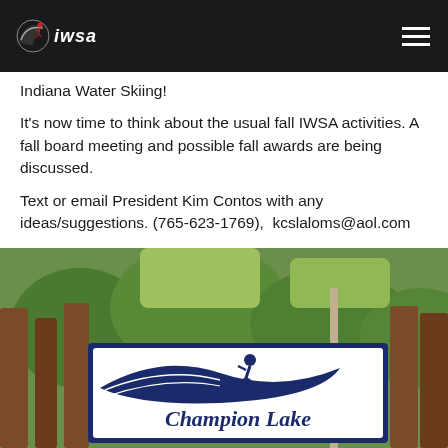IWSA logo and navigation
Indiana Water Skiing!
It's now time to think about the usual fall IWSA activities. A fall board meeting and possible fall awards are being discussed.
Text or email President Kim Contos with any ideas/suggestions. (765-623-1769),  kcslaloms@aol.com
[Figure (photo): Outdoor photo of a Champion Lake water ski club sign mounted on wooden posts, with green trees and foliage in the background. The sign is white with a dark navy blue border and features a water skier silhouette with wave swoosh design above the text 'Champion Lake' in script font.]